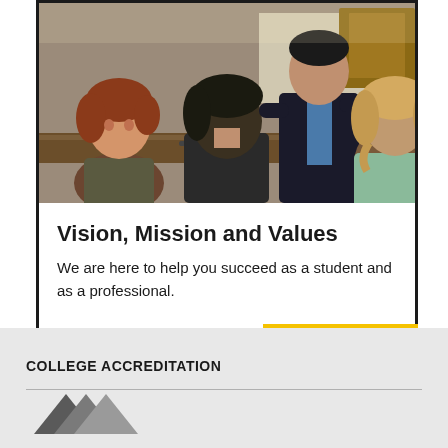[Figure (photo): Classroom scene showing students seated at a table with a professor or instructor standing and gesturing, appearing to lead a discussion or meeting]
Vision, Mission and Values
We are here to help you succeed as a student and as a professional.
COLLEGE ACCREDITATION
[Figure (logo): Partial logo graphic at bottom of page, appears to be an accreditation logo in gray tones]